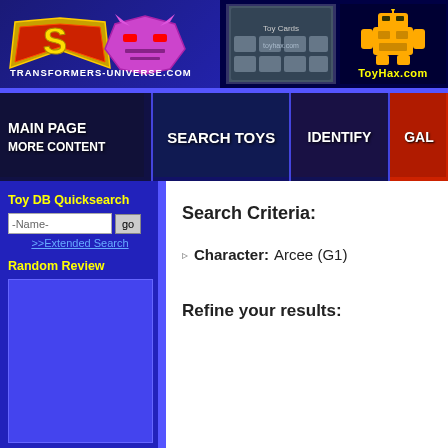[Figure (screenshot): Website header banner with Transformers-Universe.com logo on left (Superman/Transformers mashup logo) and Toyhax.com advertisement on right]
[Figure (screenshot): Navigation bar with buttons: MAIN PAGE / MORE CONTENT, SEARCH TOYS, IDENTIFY, GALL(ERY)]
Toy DB Quicksearch
-Name-
>>Extended Search
Random Review
Search Criteria:
Character: Arcee (G1)
Refine your results: